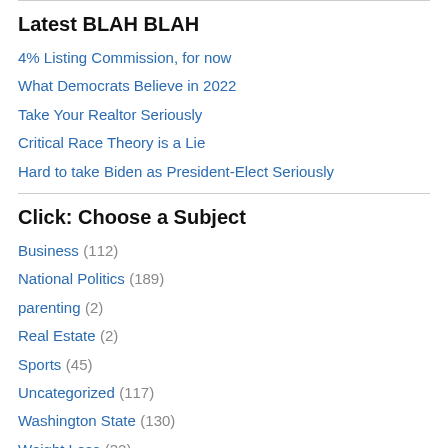Latest BLAH BLAH
4% Listing Commission, for now
What Democrats Believe in 2022
Take Your Realtor Seriously
Critical Race Theory is a Lie
Hard to take Biden as President-Elect Seriously
Click: Choose a Subject
Business (112)
National Politics (189)
parenting (2)
Real Estate (2)
Sports (45)
Uncategorized (117)
Washington State (130)
Weight Loss (32)